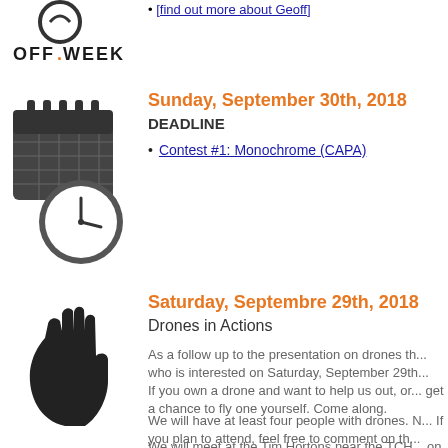[Figure (logo): OFF.WEEK logo with circular icon above text]
[find out more about Geoff]
[Figure (illustration): Calendar with clock icon]
Sunday, September 30th, 2018
DEADLINE
Contest #1: Monochrome (CAPA)
[Figure (illustration): Black hand/stop icon]
Saturday, Septembre 29th, 2018
Drones in Actions
As a follow up to the presentation on drones th... who is interested on Saturday, September 29th...
If you own a drone and want to help us out, or... get a chance to fly one yourself. Come along.
We will have at least four people with drones. N... If you plan to attend, feel free to comment on th...
We will meet at the Tim Hortons near the TCH... on the nose for the marsh barns a few minte...